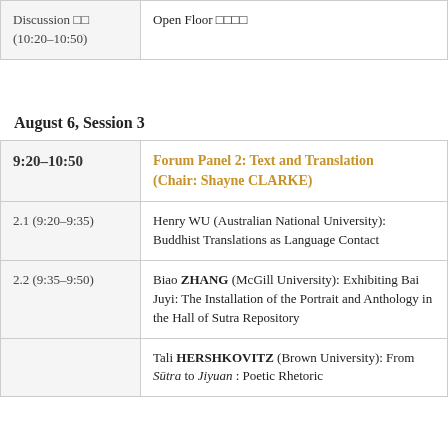| Time | Event |
| --- | --- |
| Discussion □□ (10:20–10:50) | Open Floor □□□□ |
August 6, Session 3
| Time | Event |
| --- | --- |
| 9:20–10:50 | Forum Panel 2: Text and Translation (Chair: Shayne CLARKE) |
| 2.1 (9:20–9:35) | Henry WU (Australian National University): Buddhist Translations as Language Contact |
| 2.2 (9:35–9:50) | Biao ZHANG (McGill University): Exhibiting Bai Juyi: The Installation of the Portrait and Anthology in the Hall of Sutra Repository |
|  | Tali HERSHKOVITZ (Brown University): From Sūtra to Jiyuan : Poetic Rhetoric |